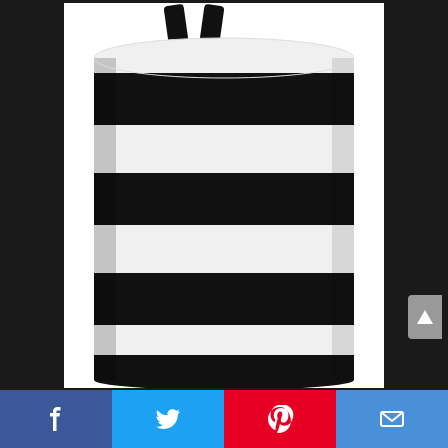[Figure (photo): A cylindrical laundry hamper/storage bag with bold black and white horizontal stripes. The bag has black fabric handles at the top and sits on a white background. A gray back-to-top arrow button appears on the right side.]
[Figure (infographic): Social sharing bar at the bottom with four buttons: Facebook (blue with f icon), Twitter (light blue with bird icon), Pinterest (red with P icon), and Email (blue with envelope icon).]